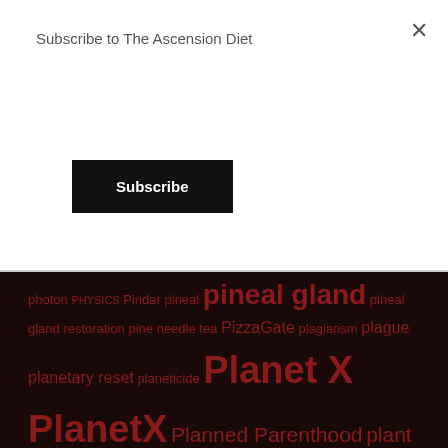Subscribe to The Ascension Diet
Subscribe
× (close)
photon PHYSICS Pindar pineal pineal gland pineal gland restoration pine needle tea PizzaGate plagiarism plague planetary reset planeticide Planet X PlanetX Planned Parenthood plant intelligence plasma plasma arc plasma arcs plasma sky Plum Island podcast POISONED MINDS poisoned tap water POISONING Pole Shift poleshift police state politics politics is a shellgame farce of theater pope pork pork is human and boar hybrid portal possesion post-human POTUS Power PP praise pray constantly prayer